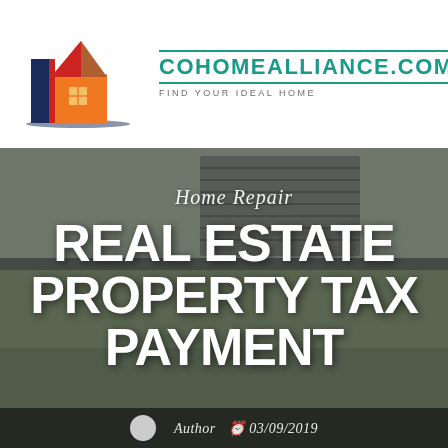[Figure (logo): CoHomeAlliance.com logo with stylized buildings in navy blue, red, and orange forming a house shape]
COHOMEALLIANCE.COM
FIND YOUR IDEAL HOME
[Figure (photo): Background photo of a family (child on adult's shoulders, woman smiling) in front of a house]
Home Repair
REAL ESTATE PROPERTY TAX PAYMENT
Author  03/09/2019